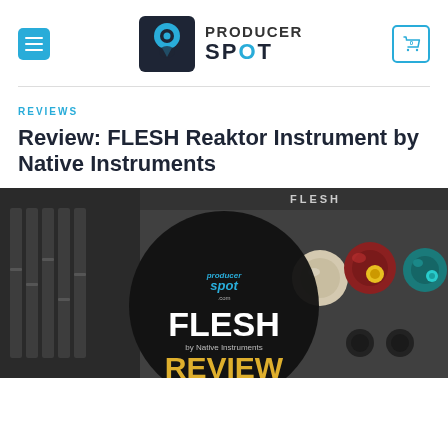Producer Spot
REVIEWS
Review: FLESH Reaktor Instrument by Native Instruments
[Figure (photo): Hero image for FLESH Reaktor Instrument review by Native Instruments, showing the plugin interface with colorful knobs and a Producer Spot watermark overlay with text 'FLESH by Native Instruments REVIEW']